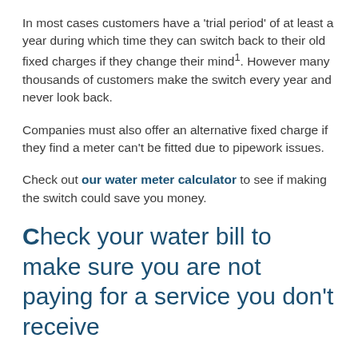In most cases customers have a 'trial period' of at least a year during which time they can switch back to their old fixed charges if they change their mind¹. However many thousands of customers make the switch every year and never look back.
Companies must also offer an alternative fixed charge if they find a meter can't be fitted due to pipework issues.
Check out our water meter calculator to see if making the switch could save you money.
Check your water bill to make sure you are not paying for a service you don't receive